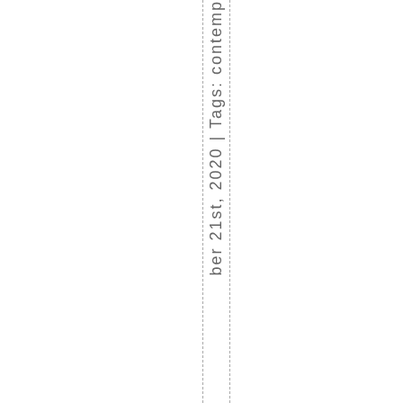ber 21st, 2020 | Tags: contemp